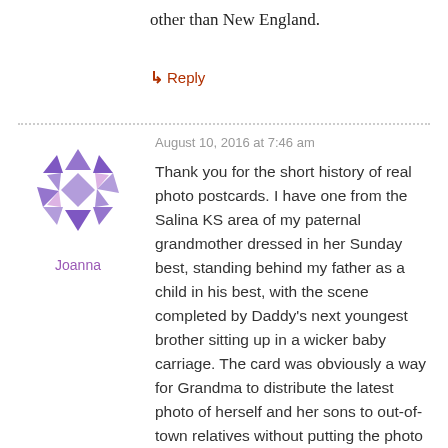other than New England.
↳ Reply
[Figure (illustration): User avatar — geometric purple/lavender diamond and triangle mosaic pattern]
Joanna
August 10, 2016 at 7:46 am
Thank you for the short history of real photo postcards. I have one from the Salina KS area of my paternal grandmother dressed in her Sunday best, standing behind my father as a child in his best, with the scene completed by Daddy's next youngest brother sitting up in a wicker baby carriage. The card was obviously a way for Grandma to distribute the latest photo of herself and her sons to out-of-town relatives without putting the photo into an envelope at a higher rate of postage. On the back of the